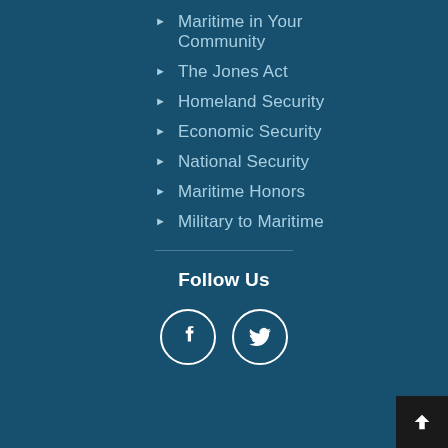Maritime in Your Community
The Jones Act
Homeland Security
Economic Security
National Security
Maritime Honors
Military to Maritime
Follow Us
[Figure (other): Facebook and Twitter social media icons in white circles on dark teal background]